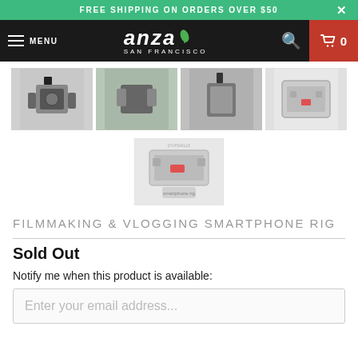FREE SHIPPING ON ORDERS OVER $50
[Figure (screenshot): Anza San Francisco e-commerce navigation bar with menu, logo, search and cart icons]
[Figure (photo): Four thumbnail images of a filmmaking and vlogging smartphone rig product]
[Figure (photo): Single center thumbnail image of filmmaking and vlogging smartphone rig product]
FILMMAKING & VLOGGING SMARTPHONE RIG
Sold Out
Notify me when this product is available:
Enter your email address...